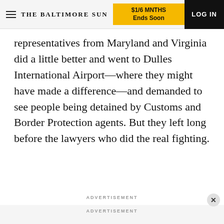THE BALTIMORE SUN | $1/6 MNTHS Ends Soon | LOG IN
representatives from Maryland and Virginia did a little better and went to Dulles International Airport—where they might have made a difference—and demanded to see people being detained by Customs and Border Protection agents. But they left long before the lawyers who did the real fighting.
ADVERTISEMENT
ADVERTISEMENT